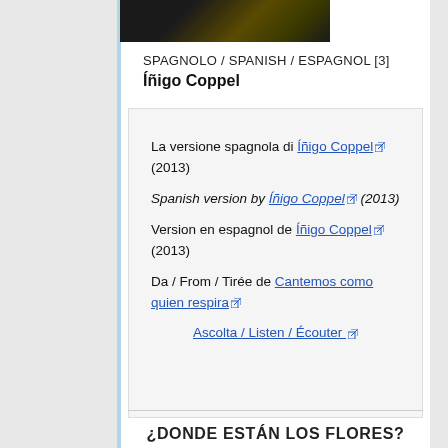[Figure (photo): Dark photograph cropped at top, appears to show a partially visible person or object against dark background]
SPAGNOLO / SPANISH / ESPAGNOL [3]
Íñigo Coppel
La versione spagnola di Íñigo Coppel (2013)
Spanish version by Íñigo Coppel (2013)
Version en espagnol de Íñigo Coppel (2013)

Da / From / Tirée de Cantemos como quien respira

Ascolta / Listen / Écouter
¿DONDE ESTÁN LOS FLORES?